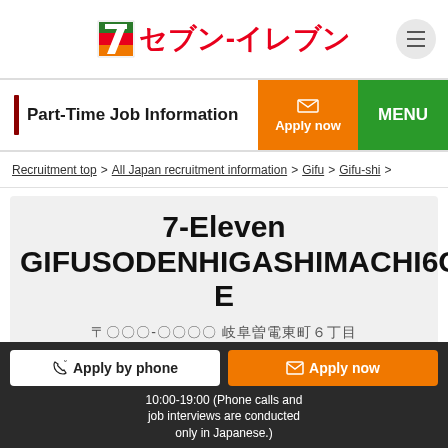[Figure (logo): 7-Eleven logo with green/orange/red striped icon and Japanese text セブン-イレブン in red]
Part-Time Job Information
Apply now
MENU
Recruitment top > All Japan recruitment information > Gifu > Gifu-shi >
7-Eleven GIFUSODENHIGASHIMACHI6CHOME
岐阜-0000 岐阜曽denHigashi町
Convenience store staff
Apply by phone
Apply now
10:00-19:00 (Phone calls and job interviews are conducted only in Japanese.)